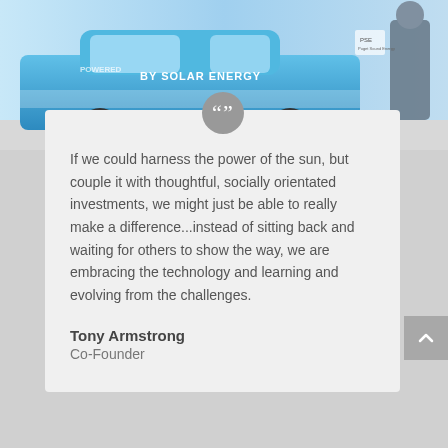[Figure (photo): A blue solar-powered vehicle/van with text 'POWERED BY SOLAR ENERGY' on its side, with a person standing next to it]
If we could harness the power of the sun, but couple it with thoughtful, socially orientated investments, we might just be able to really make a difference...instead of sitting back and waiting for others to show the way, we are embracing the technology and learning and evolving from the challenges.
Tony Armstrong
Co-Founder